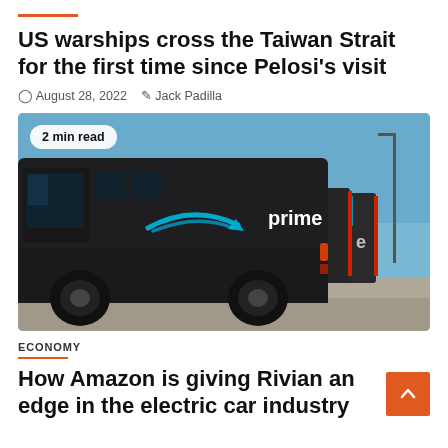US warships cross the Taiwan Strait for the first time since Pelosi's visit
August 28, 2022   Jack Padilla
[Figure (photo): Amazon Prime electric delivery vans (Rivian-built) parked in a lot, showing the Amazon arrow logo and 'prime' branding on a dark-colored van, with a clear blue sky background.]
2 min read
ECONOMY
How Amazon is giving Rivian an edge in the electric car industry